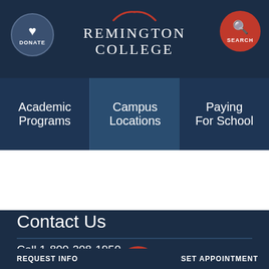[Figure (logo): Remington College logo with arch above text on dark navy background, donate button on left, search button on right]
Academic Programs
Campus Locations
Paying For School
Contact Us
Call 1-800-208-1950
Request Information
REQUEST INFO | SET APPOINTMENT